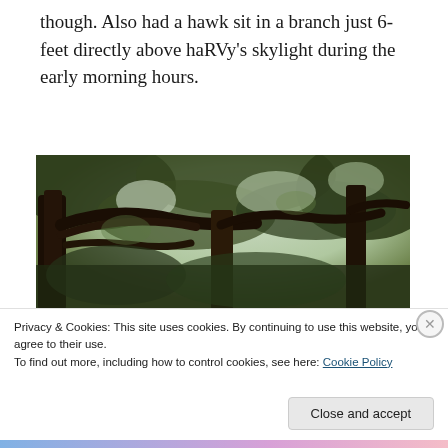though. Also had a hawk sit in a branch just 6-feet directly above haRVy's skylight during the early morning hours.
[Figure (photo): Looking up through a dense canopy of large oak or live oak trees with twisted dark branches against a pale sky, dense dark green foliage overhead.]
Privacy & Cookies: This site uses cookies. By continuing to use this website, you agree to their use.
To find out more, including how to control cookies, see here: Cookie Policy